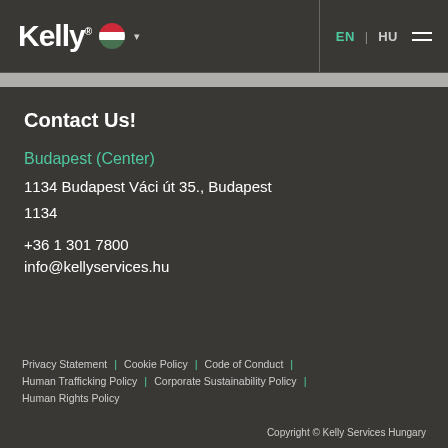Kelly [flag] EN | HU [menu]
Contact Us!
Budapest (Center)
1134 Budapest Váci út 35., Budapest
1134
+36 1 301 7800
info@kellyservices.hu
Privacy Statement | Cookie Policy | Code of Conduct | Human Trafficking Policy | Corporate Sustainability Policy | Human Rights Policy
Copyright © Kelly Services Hungary